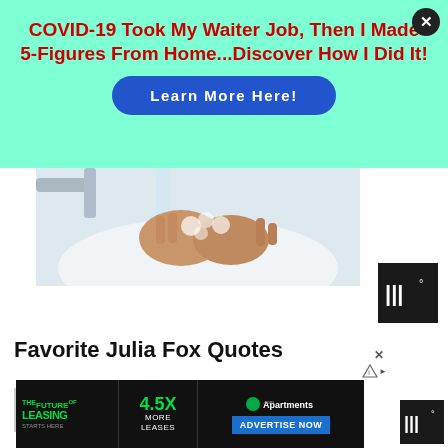[Figure (infographic): Mint green advertisement banner with red bold headline and blue pill-shaped button]
COVID-19 Took My Waiter Job, Then I Made 5-Figures From Home...Discover How I Did It!
Learn More Here!
[Figure (photo): Photo of hands being washed with soap under running water in a white sink]
[Figure (logo): Small dark icon box with white symbol and degree sign]
Favorite Julia Fox Quotes
[Figure (infographic): Bottom advertisement banner for Apartments.com - The Future of Leasing, 4.5X More Leases, Advertise Now]
THE FUTURE OF LEASING STARTS HERE
4.5X MORE LEASES
Apartments.com ADVERTISE NOW